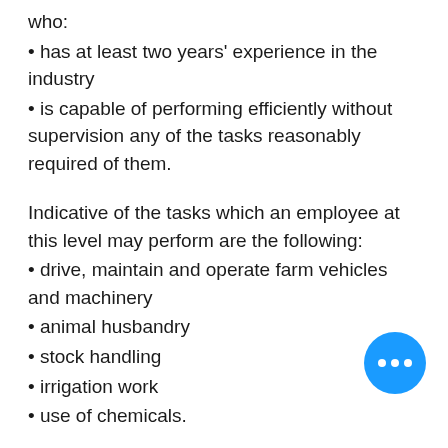who:
has at least two years' experience in the industry
is capable of performing efficiently without supervision any of the tasks reasonably required of them.
Indicative of the tasks which an employee at this level may perform are the following:
drive, maintain and operate farm vehicles and machinery
animal husbandry
stock handling
irrigation work
use of chemicals.
Your pay depends on a number of variables such as age, location